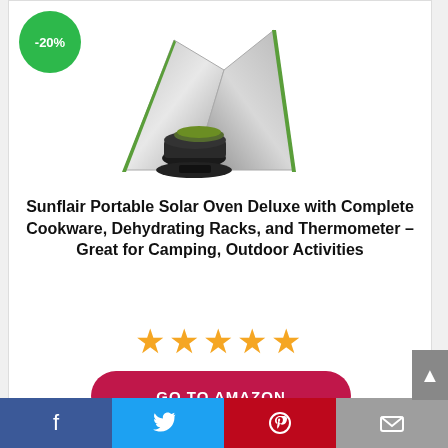[Figure (photo): Product card showing Sunflair Portable Solar Oven with -20% discount badge]
Sunflair Portable Solar Oven Deluxe with Complete Cookware, Dehydrating Racks, and Thermometer – Great for Camping, Outdoor Activities
★★★★★
GO TO AMAZON
[Figure (photo): Partial product card showing a lantern/lamp product with -23% discount badge]
Facebook | Twitter | Pinterest | Email social sharing bar